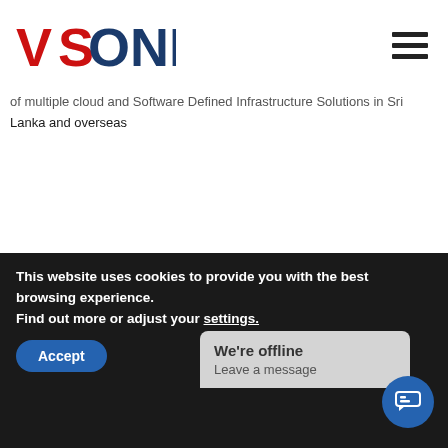[Figure (logo): VSONE logo with red V and blue ONE text]
of multiple cloud and Software Defined Infrastructure Solutions in Sri Lanka and overseas
This website uses cookies to provide you with the best browsing experience. Find out more or adjust your settings.
Accept
We're offline
Leave a message